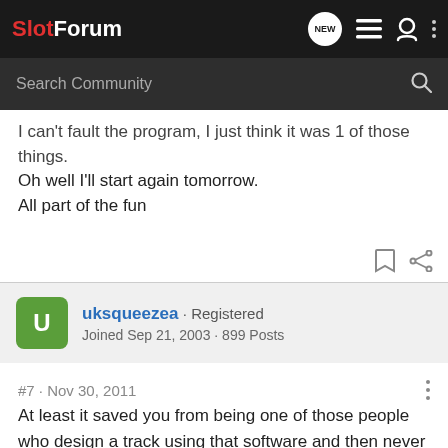SlotForum
I can't fault the program, I just think it was 1 of those things.
Oh well I'll start again tomorrow.
All part of the fun
uksqueezea · Registered
Joined Sep 21, 2003 · 899 Posts
#7 · Nov 30, 2011
At least it saved you from being one of those people who design a track using that software and then never build it.